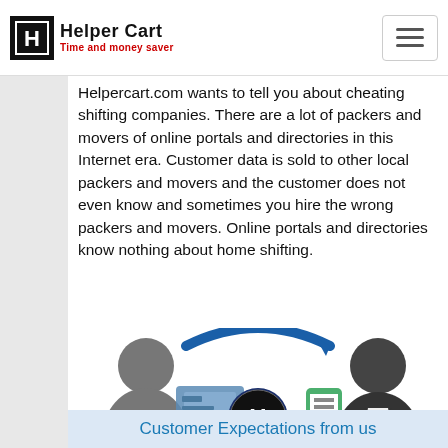Helper Cart — Time and money saver
Helpercart.com wants to tell you about cheating shifting companies. There are a lot of packers and movers of online portals and directories in this Internet era. Customer data is sold to other local packers and movers and the customer does not even know and sometimes you hire the wrong packers and movers. Online portals and directories know nothing about home shifting.
[Figure (illustration): Infographic showing a customer (gray person icon) on the left side next to a computer screen, with circular arrows (blue top arrow, green bottom arrow) indicating a transaction cycle, Helper Cart logo in the center, a mobile phone icon, and a suited person (representative) on the right side.]
Customer Expectations from us